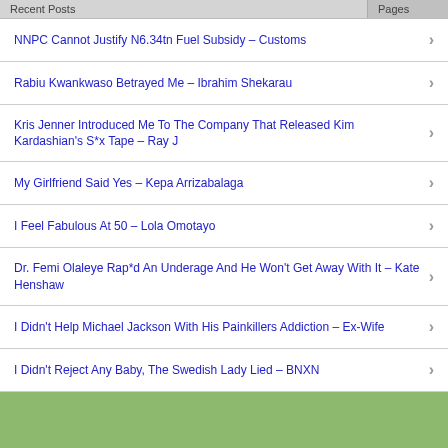Recent Posts | Pages
NNPC Cannot Justify N6.34tn Fuel Subsidy – Customs
Rabiu Kwankwaso Betrayed Me – Ibrahim Shekarau
Kris Jenner Introduced Me To The Company That Released Kim Kardashian's S*x Tape – Ray J
My Girlfriend Said Yes – Kepa Arrizabalaga
I Feel Fabulous At 50 – Lola Omotayo
Dr. Femi Olaleye Rap*d An Underage And He Won't Get Away With It – Kate Henshaw
I Didn't Help Michael Jackson With His Painkillers Addiction – Ex-Wife
I Didn't Reject Any Baby, The Swedish Lady Lied – BNXN